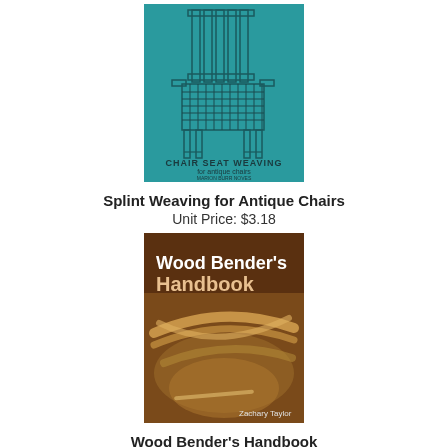[Figure (illustration): Book cover of 'Chair Seat Weaving for Antique Chairs' by Marion Burr Noves. Teal/blue-green background with a line drawing of a chair with a woven seat. Text reads 'CHAIR SEAT WEAVING for antique chairs MARION BURR NOVES'.]
Splint Weaving for Antique Chairs
Unit Price: $3.18
[Figure (photo): Book cover of 'Wood Bender's Handbook' by Zachary Taylor. Shows a photograph of wood strips being bent, with the title in large white/cream text overlaid on the photo.]
Wood Bender's Handbook
Unit Price: $17.95